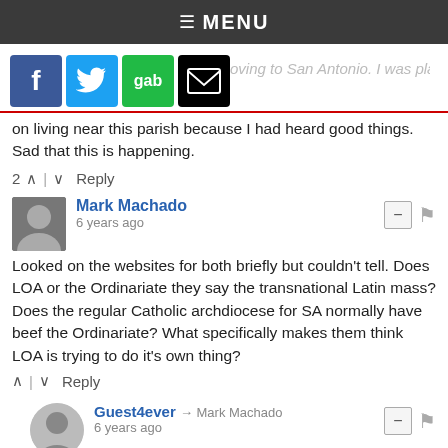≡ MENU
[Figure (screenshot): Social share buttons: Facebook (blue f), Twitter (blue bird), Gab (green), Email (black envelope). Faded text: 'moving to San Antonio. I was planning']
on living near this parish because I had heard good things. Sad that this is happening.
2 ∧ | ∨   Reply
Mark Machado
6 years ago
Looked on the websites for both briefly but couldn't tell. Does LOA or the Ordinariate they say the transnational Latin mass? Does the regular Catholic archdiocese for SA normally have beef the Ordinariate? What specifically makes them think LOA is trying to do it's own thing?
∧ | ∨   Reply
Guest4ever → Mark Machado
6 years ago
Sounds like Vatican, and like-minded minion, political bully tactics to me. Someone's too greedy for fame, power---take your choice. Maybe all   ardinal